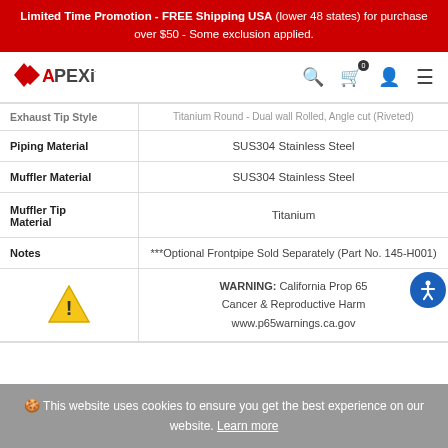Limited Time Promotion - FREE Shipping USA (lower 48 states) for purchase over $50 - Some exclusion applied.
[Figure (logo): APEXi logo in red with stylized chevron]
| Property | Value |
| --- | --- |
| Exhaust Tip Style | Titanium Round - Dual wall Rolled, Angle cut (Riveted) |
| Piping Material | SUS304 Stainless Steel |
| Muffler Material | SUS304 Stainless Steel |
| Muffler Tip Material | Titanium |
| Notes | ***Optional Frontpipe Sold Separately (Part No. 145-H001) |
|  | WARNING: California Prop 65 Cancer & Reproductive Harm www.p65warnings.ca.gov |
This website uses cookies to ensure you get the best experience on our website. Learn more